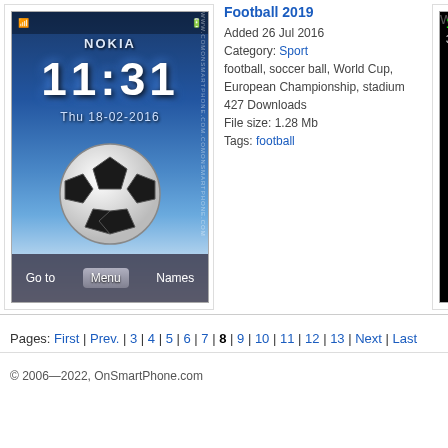[Figure (screenshot): Nokia phone screen showing Football 2019 theme with time 11:31, date Thu 18-02-2016, and a soccer ball on stadium background with Go to / Menu / Names buttons]
Football 2019
Added 26 Jul 2016
Category: Sport
football, soccer ball, World Cup, European Championship, stadium
427 Downloads
File size: 1.28 Mb
Tags: football
[Figure (screenshot): Nokia phone screen showing ColourFull+ theme with black background, colorful overlapping circles, MTS RUS carrier, date Bc 2016.07.17, FM-radio and QReader buttons]
ColourFull+ by Trewoga
Added 26 Jul 2016
Category: Decorative
Free Download colourfull abstract Nokia theme.
164 Downloads
File size: 1.62 Mb
Tags: abstract
Pages: First | Prev. | 3 | 4 | 5 | 6 | 7 | 8 | 9 | 10 | 11 | 12 | 13 | Next | Last
© 2006—2022, OnSmartPhone.com